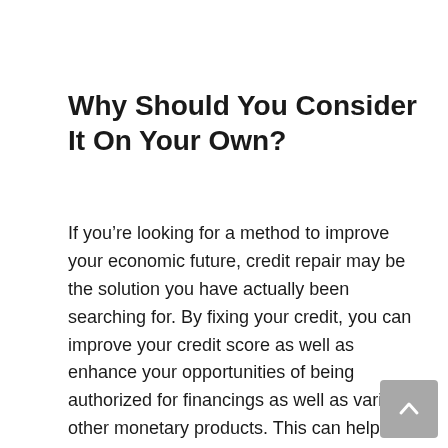Why Should You Consider It On Your Own?
If you're looking for a method to improve your economic future, credit repair may be the solution you have actually been searching for. By fixing your credit, you can improve your credit score as well as enhance your opportunities of being authorized for financings as well as various other monetary products. This can help you get on track for a brilliant future.